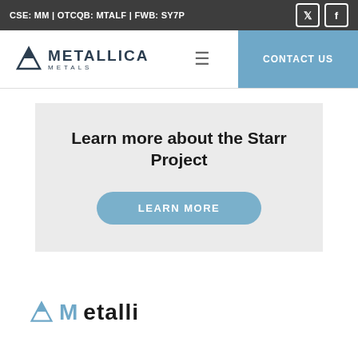CSE: MM | OTCQB: MTALF | FWB: SY7P
[Figure (logo): Metallica Metals logo with mountain icon and company name]
CONTACT US
Learn more about the Starr Project
LEARN MORE
[Figure (logo): Partial Metallica Metals logo visible at bottom of page]